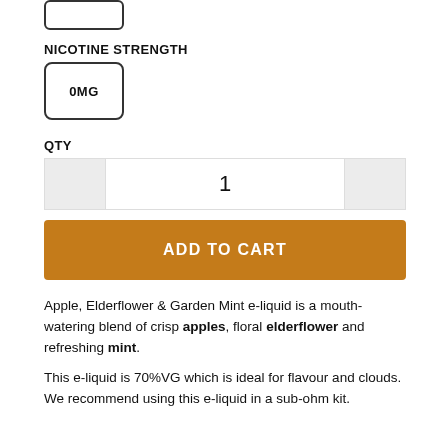[Figure (other): Small square checkbox/button element at top]
NICOTINE STRENGTH
0MG
QTY
1
ADD TO CART
Apple, Elderflower & Garden Mint e-liquid is a mouth-watering blend of crisp apples, floral elderflower and refreshing mint.
This e-liquid is 70%VG which is ideal for flavour and clouds. We recommend using this e-liquid in a sub-ohm kit.